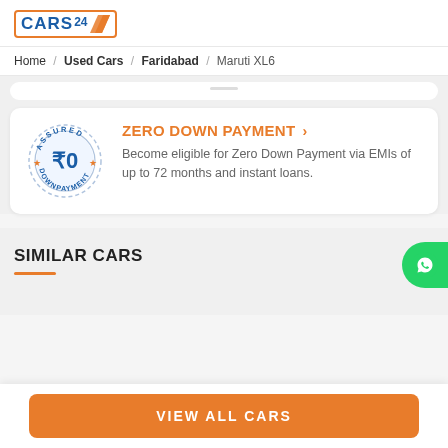CARS24 logo
Home / Used Cars / Faridabad / Maruti XL6
ZERO DOWN PAYMENT > Become eligible for Zero Down Payment via EMIs of up to 72 months and instant loans.
SIMILAR CARS
VIEW ALL CARS